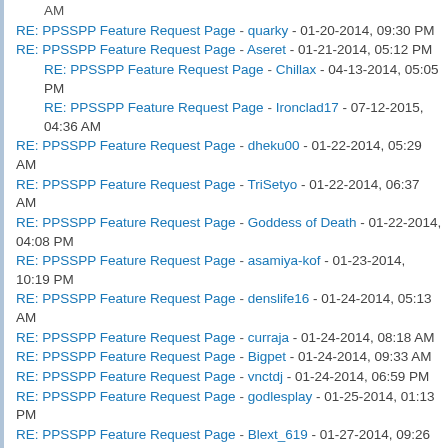AM
RE: PPSSPP Feature Request Page - quarky - 01-20-2014, 09:30 PM
RE: PPSSPP Feature Request Page - Aseret - 01-21-2014, 05:12 PM
RE: PPSSPP Feature Request Page - Chillax - 04-13-2014, 05:05 PM
RE: PPSSPP Feature Request Page - Ironclad17 - 07-12-2015, 04:36 AM
RE: PPSSPP Feature Request Page - dheku00 - 01-22-2014, 05:29 AM
RE: PPSSPP Feature Request Page - TriSetyo - 01-22-2014, 06:37 AM
RE: PPSSPP Feature Request Page - Goddess of Death - 01-22-2014, 04:08 PM
RE: PPSSPP Feature Request Page - asamiya-kof - 01-23-2014, 10:19 PM
RE: PPSSPP Feature Request Page - denslife16 - 01-24-2014, 05:13 AM
RE: PPSSPP Feature Request Page - curraja - 01-24-2014, 08:18 AM
RE: PPSSPP Feature Request Page - Bigpet - 01-24-2014, 09:33 AM
RE: PPSSPP Feature Request Page - vnctdj - 01-24-2014, 06:59 PM
RE: PPSSPP Feature Request Page - godlesplay - 01-25-2014, 01:13 PM
RE: PPSSPP Feature Request Page - Blext_619 - 01-27-2014, 09:26 AM
RE: PPSSPP Feature Request Page - resetter - 01-27-2014, 01:17 PM
RE: PPSSPP Feature Request Page - denslife16 - 01-27-2014, 01:42 PM